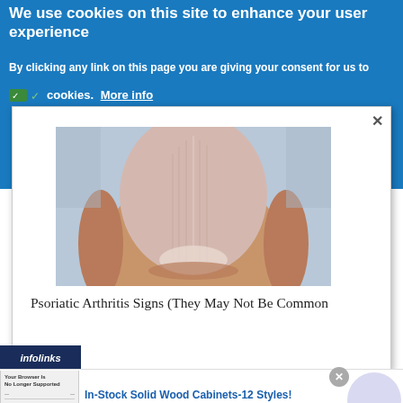We use cookies on this site to enhance your user experience
By clicking any link on this page you are giving your consent for us to set cookies. More info
[Figure (screenshot): Modal popup showing a close-up photo of a fingernail/thumb, with text 'Psoriatic Arthritis Signs (They May Not Be Common']
Psoriatic Arthritis Signs (They May Not Be Common
[Figure (screenshot): Ad banner for Clifton Design Studio showing In-Stock Solid Wood Cabinets - 12 Styles with a browser screenshot thumbnail and navigation arrow button]